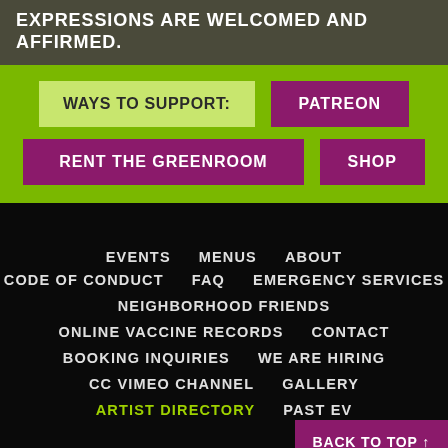EXPRESSIONS ARE WELCOMED AND AFFIRMED.
WAYS TO SUPPORT:
PATREON
RENT THE GREENROOM
SHOP
EVENTS
MENUS
ABOUT
CODE OF CONDUCT
FAQ
EMERGENCY SERVICES
NEIGHBORHOOD FRIENDS
ONLINE VACCINE RECORDS
CONTACT
BOOKING INQUIRIES
WE ARE HIRING
CC VIMEO CHANNEL
GALLERY
ARTIST DIRECTORY
PAST EV...
BACK TO TOP ↑